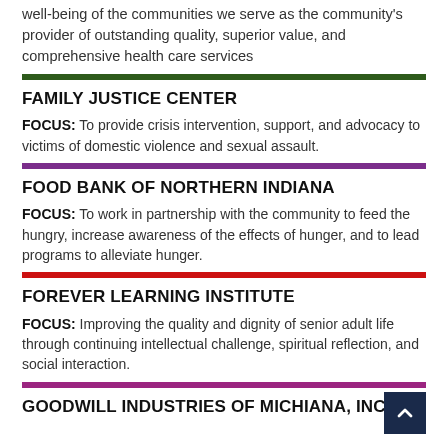well-being of the communities we serve as the community's provider of outstanding quality, superior value, and comprehensive health care services
FAMILY JUSTICE CENTER
FOCUS: To provide crisis intervention, support, and advocacy to victims of domestic violence and sexual assault.
FOOD BANK OF NORTHERN INDIANA
FOCUS: To work in partnership with the community to feed the hungry, increase awareness of the effects of hunger, and to lead programs to alleviate hunger.
FOREVER LEARNING INSTITUTE
FOCUS: Improving the quality and dignity of senior adult life through continuing intellectual challenge, spiritual reflection, and social interaction.
GOODWILL INDUSTRIES OF MICHIANA, INC.